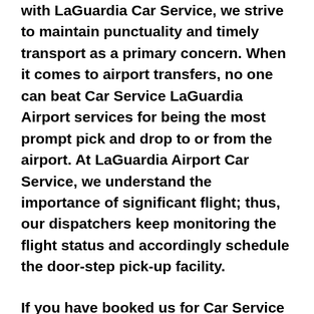with LaGuardia Car Service, we strive to maintain punctuality and timely transport as a primary concern. When it comes to airport transfers, no one can beat Car Service LaGuardia Airport services for being the most prompt pick and drop to or from the airport. At LaGuardia Airport Car Service, we understand the importance of significant flight; thus, our dispatchers keep monitoring the flight status and accordingly schedule the door-step pick-up facility.
If you have booked us for Car Service to LaGuardia Airport from Seneca Falls, NY, our diligent and knowledgeable driver, make sure to pick the shortest route possible for your convenient and timely transit. The highly skilled and talented